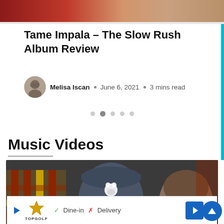[Figure (photo): Top banner image with warm reddish and skin-toned gradients, partial header photo]
Tame Impala – The Slow Rush Album Review
Melisa Iscan · June 6, 2021 · 3 mins read
[Figure (infographic): Carousel pagination dots, second dot active]
Music Videos
[Figure (photo): Music video thumbnail showing a person wearing a grey baseball cap with a white bear/animal logo patch, viewed from behind, with another person visible in the background]
[Figure (infographic): Advertisement bar: TopGolf logo with Dine-in checkmark and Delivery X, navigation arrow button, and scroll-to-top button]